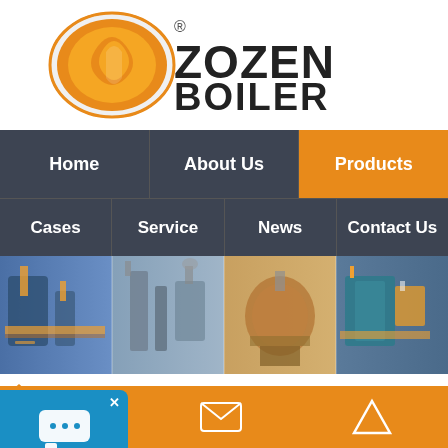[Figure (logo): Zozen Boiler logo with orange flame/S symbol inside oval and text ZOZEN BOILER in bold black with registered trademark symbol]
Home | About Us | Products | Cases | Service | News | Contact Us
[Figure (photo): Panoramic banner of industrial boiler equipment in factory settings, four panels showing different boiler installations]
You Are Here: Home > Products> Three Way Catalytic Converter For Direct Gas Fired Boiler
[Figure (screenshot): Blue chat online widget with chat bubble icon and X close button]
ired(oil-fired) boilers
Phone | Email | Up arrow navigation icons on orange bar